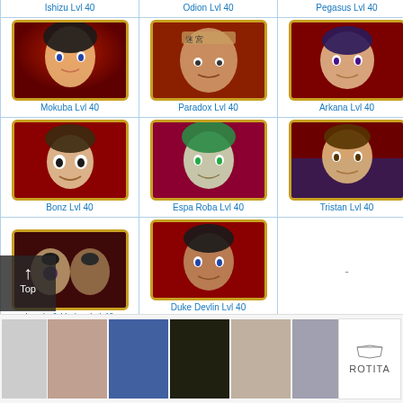[Figure (screenshot): Grid of Yu-Gi-Oh Duel Links characters at Level 40, showing character portrait thumbnails with names]
Ishizu Lvl 40
Odion Lvl 40
Pegasus Lvl 40
[Figure (illustration): Mokuba character portrait on red background]
Mokuba Lvl 40
[Figure (illustration): Paradox Brothers character portrait on red background]
Paradox Lvl 40
[Figure (illustration): Arkana character portrait on red background]
Arkana Lvl 40
[Figure (illustration): Bonz character portrait on red background]
Bonz Lvl 40
[Figure (illustration): Espa Roba character portrait on red background]
Espa Roba Lvl 40
[Figure (illustration): Tristan character portrait on red/blue background]
Tristan Lvl 40
[Figure (illustration): Lumis and Umbra character portrait on red/dark background]
Lumis & Umbra Lvl 40
[Figure (illustration): Duke Devlin character portrait on red background]
Duke Devlin Lvl 40
Farm
-
[Figure (screenshot): Advertisement banner showing clothing/swimwear images with Rotita logo]